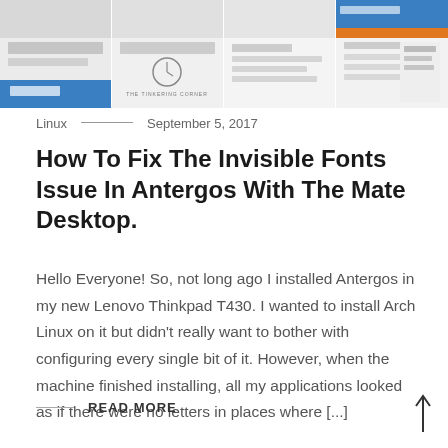[Figure (screenshot): A strip of four website/blog screenshot thumbnails shown at the top of the page, featuring various page layouts including one with a blue header bar and one with a clock logo reading 'THE TINKERING CORNER'.]
Linux — September 5, 2017
How To Fix The Invisible Fonts Issue In Antergos With The Mate Desktop.
Hello Everyone! So, not long ago I installed Antergos in my new Lenovo Thinkpad T430. I wanted to install Arch Linux on it but didn't really want to bother with configuring every single bit of it. However, when the machine finished installing, all my applications looked as if there were no letters in places where [...]
READ MORE